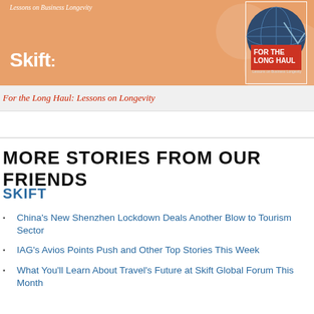[Figure (illustration): Skift banner with orange background, Skift logo, book cover for 'For the Long Haul: Lessons on Business Longevity', globe illustration]
For the Long Haul: Lessons on Longevity
MORE STORIES FROM OUR FRIENDS
SKIFT
China's New Shenzhen Lockdown Deals Another Blow to Tourism Sector
IAG's Avios Points Push and Other Top Stories This Week
What You'll Learn About Travel's Future at Skift Global Forum This Month